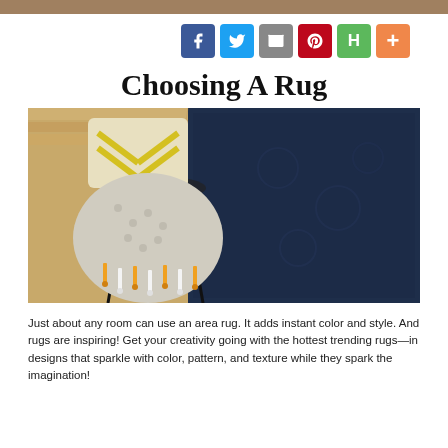[Figure (other): Social sharing buttons: Facebook (blue), Twitter (light blue), Email (gray), Pinterest (red), Hometalk (green), More (orange)]
Choosing A Rug
[Figure (photo): Photo of a dark navy blue area rug on light wood flooring, with a black wire chair holding a cream and gray knitted throw blanket with orange and white tassels, and a yellow chevron-striped pillow in the background.]
Just about any room can use an area rug. It adds instant color and style. And rugs are inspiring! Get your creativity going with the hottest trending rugs—in designs that sparkle with color, pattern, and texture while they spark the imagination!